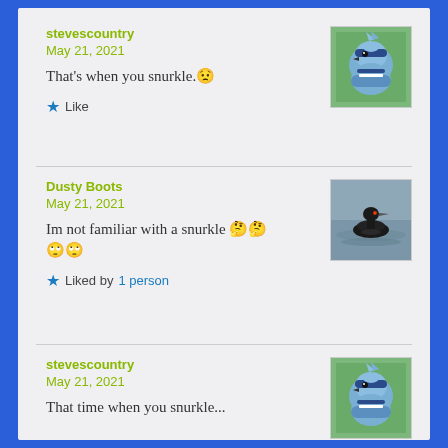stevescountry
May 21, 2021
That's when you snurkle. 😣
★ Like
[Figure (photo): Close-up photo of a blue jay bird]
Dusty Boots
May 21, 2021
Im not familiar with a snurkle 🤔🤔 🙄🙄
★ Liked by 1 person
[Figure (photo): Photo of a loon bird swimming on water]
stevescountry
May 21, 2021
That time when you snurkle...
[Figure (photo): Close-up photo of a blue jay bird]